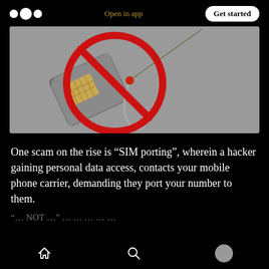Open in app | Get started
[Figure (photo): A SIM card on a fishing hook with a red prohibition circle overlaid on top, on a gray background — illustrating SIM porting scam / phishing concept.]
One scam on the rise is “SIM porting”, wherein a hacker gaining personal data access, contacts your mobile phone carrier, demanding they port your number to them.
“… NOT …” … …
Home | Search | Profile